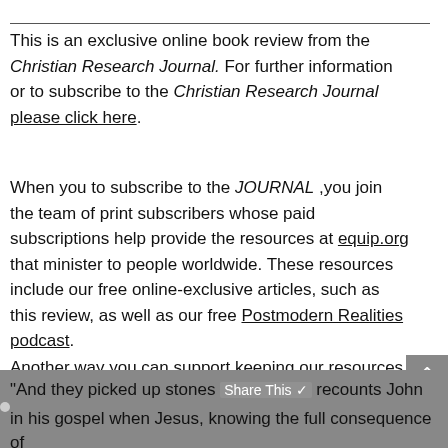This is an exclusive online book review from the Christian Research Journal. For further information or to subscribe to the Christian Research Journal please click here.
When you to subscribe to the JOURNAL ,you join the team of print subscribers whose paid subscriptions help provide the resources at equip.org that minister to people worldwide. These resources include our free online-exclusive articles, such as this review, as well as our free Postmodern Realities podcast.
Another way you can support keeping our resources free is by leaving us a tip.  A tip is just a small amount, like $3 or $5, which is the cost for some of a latte, lunch out, or coffee drink. To leave a tip, click here.
“And they picked up stones Share This✓ recounts John in his gospel when Jesus, knowing the full consequence of